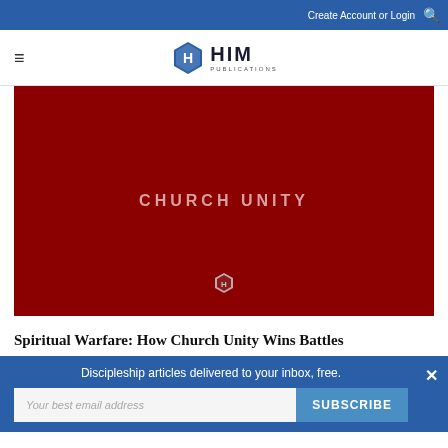Create Account or Login
[Figure (logo): HIM Publications logo - hexagonal H icon with HIM PUBLICATIONS text]
[Figure (illustration): Dark red/maroon hero image with 'CHURCH UNITY' text centered and a small HIM Publications hexagon icon at the bottom]
Spiritual Warfare: How Church Unity Wins Battles
Discipleship articles delivered to your inbox, free.
Your best email address
SUBSCRIBE